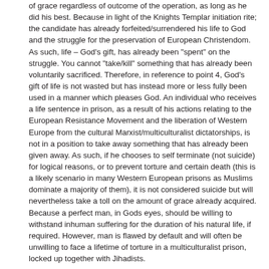of grace regardless of outcome of the operation, as long as he did his best. Because in light of the Knights Templar initiation rite; the candidate has already forfeited/surrendered his life to God and the struggle for the preservation of European Christendom. As such, life – God's gift, has already been "spent" on the struggle. You cannot "take/kill" something that has already been voluntarily sacrificed. Therefore, in reference to point 4, God's gift of life is not wasted but has instead more or less fully been used in a manner which pleases God. An individual who receives a life sentence in prison, as a result of his actions relating to the European Resistance Movement and the liberation of Western Europe from the cultural Marxist/multiculturalist dictatorships, is not in a position to take away something that has already been given away. As such, if he chooses to self terminate (not suicide) for logical reasons, or to prevent torture and certain death (this is a likely scenario in many Western European prisons as Muslims dominate a majority of them), it is not considered suicide but will nevertheless take a toll on the amount of grace already acquired. Because a perfect man, in Gods eyes, should be willing to withstand inhuman suffering for the duration of his natural life, if required. However, man is flawed by default and will often be unwilling to face a lifetime of torture in a multiculturalist prison, locked up together with Jihadists.